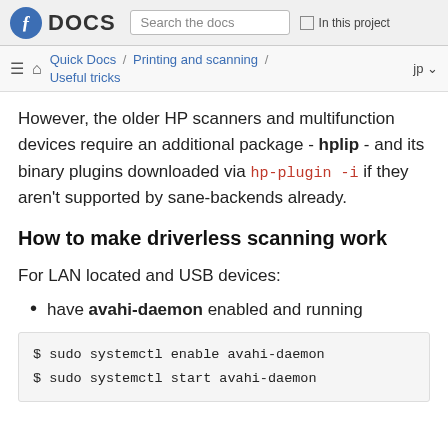DOCS | Search the docs | In this project
Quick Docs / Printing and scanning / Useful tricks  jp
However, the older HP scanners and multifunction devices require an additional package - hplip - and its binary plugins downloaded via hp-plugin -i if they aren't supported by sane-backends already.
How to make driverless scanning work
For LAN located and USB devices:
have avahi-daemon enabled and running
$ sudo systemctl enable avahi-daemon
$ sudo systemctl start avahi-daemon